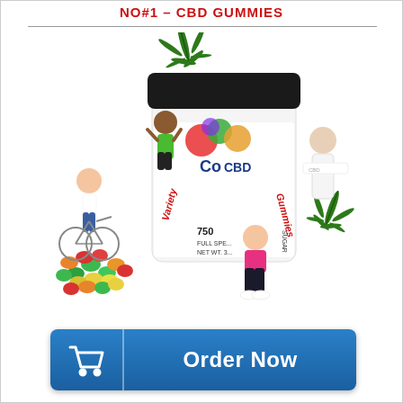NO#1 – CBD GUMMIES
[Figure (photo): Product advertisement image showing a jar of CoCBD Variety Gummies (750mg, Full Spectrum) surrounded by colorful gummy candies, cannabis leaves, and people engaged in healthy activities including cycling, running, and stretching.]
Order Now